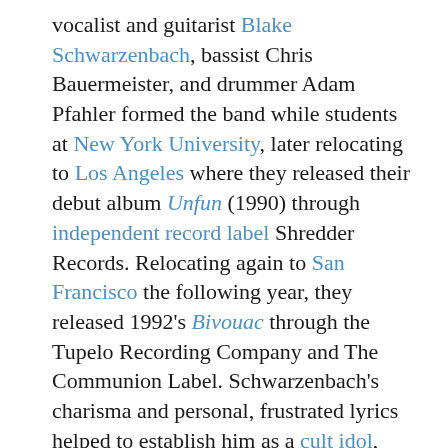vocalist and guitarist Blake Schwarzenbach, bassist Chris Bauermeister, and drummer Adam Pfahler formed the band while students at New York University, later relocating to Los Angeles where they released their debut album Unfun (1990) through independent record label Shredder Records. Relocating again to San Francisco the following year, they released 1992's Bivouac through the Tupelo Recording Company and The Communion Label. Schwarzenbach's charisma and personal, frustrated lyrics helped to establish him as a cult idol, even as he underwent surgery to remove painful and voice-threatening polyps from his throat. Jawbreaker toured with Nirvana in 1993 and released 24 Hour Revenge Therapy in 1994, attracting the attention of major labels. They signed a $1 million contract with DGC Records and released 1995's Dear You, but the album's polished production and smooth vocals resulted in a significant backlash from the band's core audience. Internal tensions